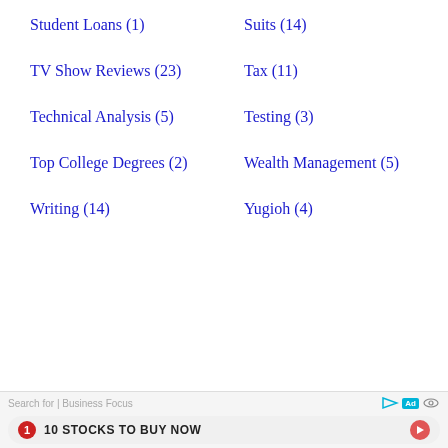Student Loans (1)
Suits (14)
TV Show Reviews (23)
Tax (11)
Technical Analysis (5)
Testing (3)
Top College Degrees (2)
Wealth Management (5)
Writing (14)
Yugioh (4)
Search for | Business Focus   Ad  [icons]  1  10 STOCKS TO BUY NOW